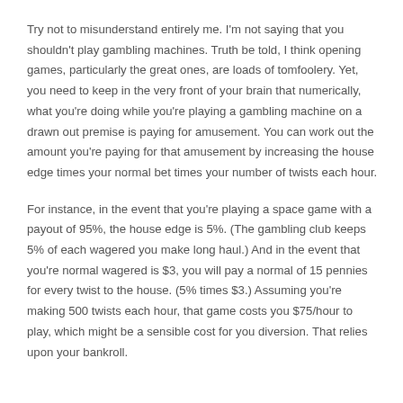Try not to misunderstand entirely me. I'm not saying that you shouldn't play gambling machines. Truth be told, I think opening games, particularly the great ones, are loads of tomfoolery. Yet, you need to keep in the very front of your brain that numerically, what you're doing while you're playing a gambling machine on a drawn out premise is paying for amusement. You can work out the amount you're paying for that amusement by increasing the house edge times your normal bet times your number of twists each hour.
For instance, in the event that you're playing a space game with a payout of 95%, the house edge is 5%. (The gambling club keeps 5% of each wagered you make long haul.) And in the event that you're normal wagered is $3, you will pay a normal of 15 pennies for every twist to the house. (5% times $3.) Assuming you're making 500 twists each hour, that game costs you $75/hour to play, which might be a sensible cost for you diversion. That relies upon your bankroll.